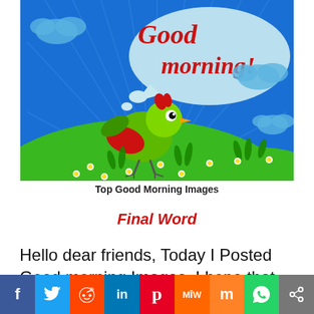[Figure (illustration): Cartoon Good Morning image: a green rooster-like bird on a green hill with flowers, blue sky with sun rays, clouds, and a speech bubble saying 'Good Morning!' in red text.]
Top Good Morning Images
Final Word
Hello dear friends, Today I Posted Good morning Images. I hope that you liked my latest
[Figure (infographic): Social media sharing bar with buttons: Facebook (f), Twitter (bird), Reddit (alien), LinkedIn (in), Pinterest (P), MeWe (MW), Mix (m), WhatsApp, Share (<)]